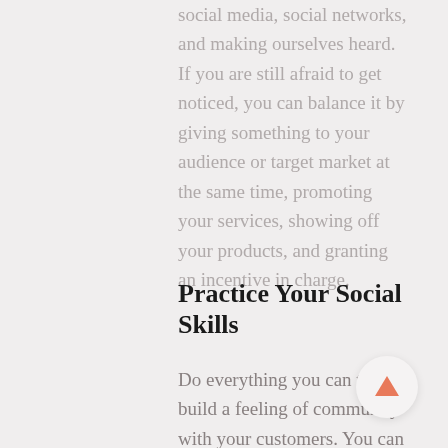social media, social networks, and making ourselves heard. If you are still afraid to get noticed, you can balance it by giving something to your audience or target market at the same time, promoting your services, showing off your products, and granting an incentive in charge.
Practice Your Social Skills
Do everything you can to build a feeling of community with your customers. You can do this with a social responsibility campaign, a